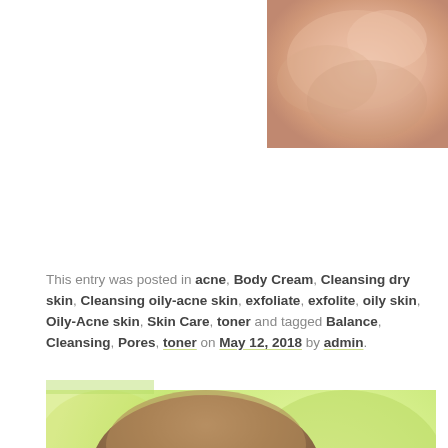[Figure (photo): Close-up photo of hands/skin, cropped at top of page, warm pinkish tones]
This entry was posted in acne, Body Cream, Cleansing dry skin, Cleansing oily-acne skin, exfoliate, exfolite, oily skin, Oily-Acne skin, Skin Care, toner and tagged Balance, Cleansing, Pores, toner on May 12, 2018 by admin.
[Figure (photo): Photo of a young man's face with short hair against a bright green/yellow blurred background]